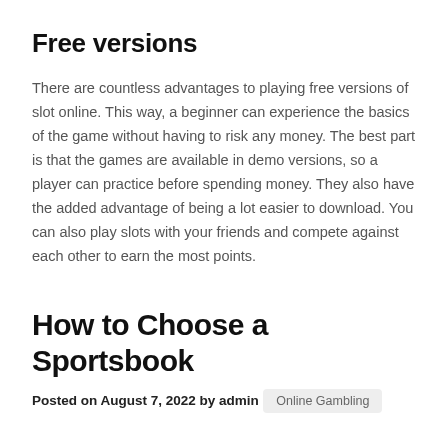Free versions
There are countless advantages to playing free versions of slot online. This way, a beginner can experience the basics of the game without having to risk any money. The best part is that the games are available in demo versions, so a player can practice before spending money. They also have the added advantage of being a lot easier to download. You can also play slots with your friends and compete against each other to earn the most points.
How to Choose a Sportsbook
Posted on August 7, 2022 by admin
Online Gambling